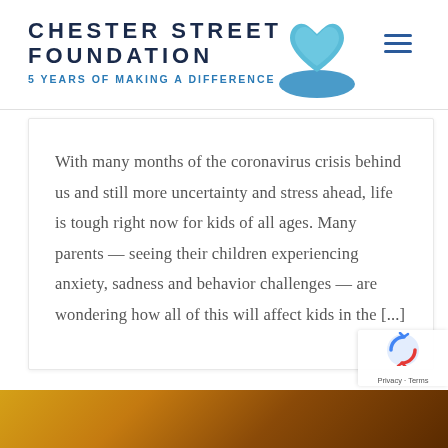[Figure (logo): Chester Street Foundation logo with heart and hands icon, and tagline '5 YEARS OF MAKING A DIFFERENCE']
With many months of the coronavirus crisis behind us and still more uncertainty and stress ahead, life is tough right now for kids of all ages. Many parents — seeing their children experiencing anxiety, sadness and behavior challenges — are wondering how all of this will affect kids in the [...]
[Figure (photo): Partial photo of children visible at the bottom of the page]